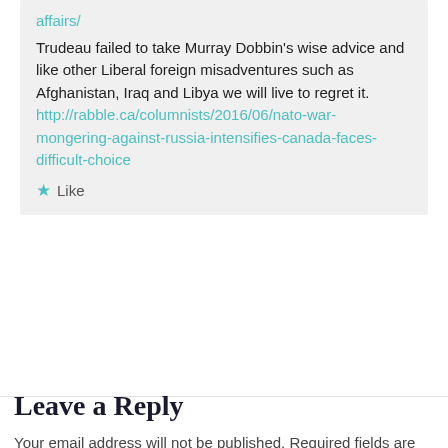affairs/
Trudeau failed to take Murray Dobbin's wise advice and like other Liberal foreign misadventures such as Afghanistan, Iraq and Libya we will live to regret it. http://rabble.ca/columnists/2016/06/nato-war-mongering-against-russia-intensifies-canada-faces-difficult-choice
Like
Leave a Reply
Your email address will not be published. Required fields are marked